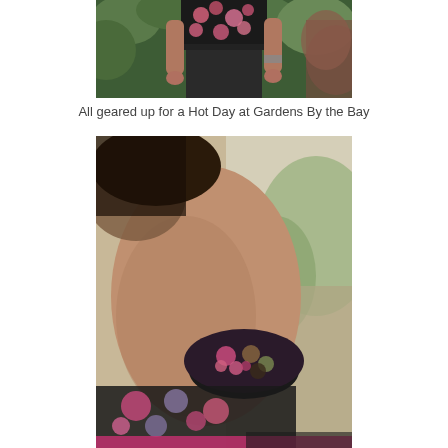[Figure (photo): A woman wearing a black floral top with pink roses and dark pants, standing in front of lush green garden plants.]
All geared up for a Hot Day at Gardens By the Bay
[Figure (photo): Close-up of a person's arm/elbow area wearing a black floral fabric scrunchie/bracelet with pink and purple flowers, with a floral top visible below.]